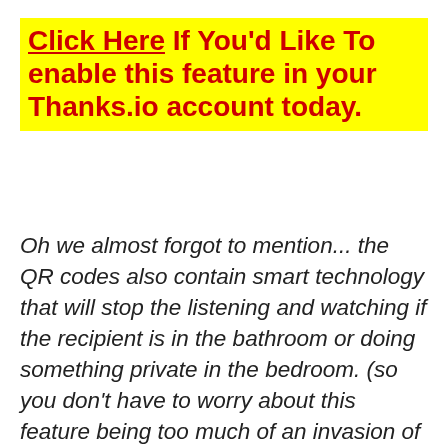Click Here If You'd Like To enable this feature in your Thanks.io account today.
Oh we almost forgot to mention... the QR codes also contain smart technology that will stop the listening and watching if the recipient is in the bathroom or doing something private in the bedroom. (so you don't have to worry about this feature being too much of an invasion of privacy. )